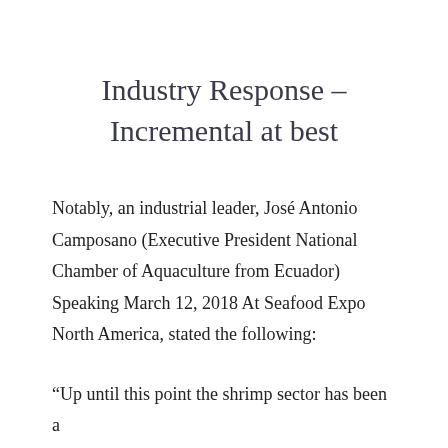Industry Response – Incremental at best
Notably, an industrial leader, José Antonio Camposano (Executive President National Chamber of Aquaculture from Ecuador) Speaking March 12, 2018 At Seafood Expo North America, stated the following:
“Up until this point the shrimp sector has been a